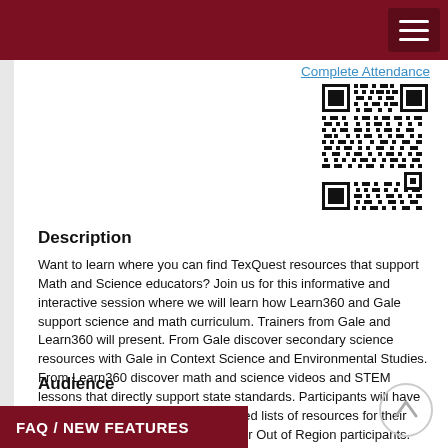Complete Attendance
[Figure (other): QR code for completing attendance]
Description
Want to learn where you can find TexQuest resources that support Math and Science educators? Join us for this informative and interactive session where we will learn how Learn360 and Gale support science and math curriculum. Trainers from Gale and Learn360 will present. From Gale discover secondary science resources with Gale in Context Science and Environmental Studies. From Learn360 discover math and science videos and STEM lessons that directly support state standards. Participants will have time to explore and create customized lists of resources for their grade and/or content level. No fee for Out of Region participants. Presented by Marian Valentine - Gale Cengage and Bonnie Blan - Infobase. ZOOM ONLY
Audience
FAQ / NEW FEATURES